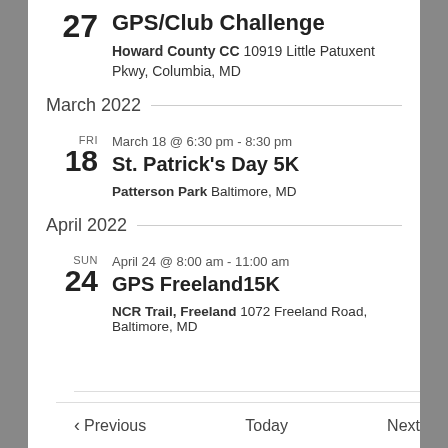27 GPS/Club Challenge — Howard County CC 10919 Little Patuxent Pkwy, Columbia, MD
March 2022
FRI 18 — March 18 @ 6:30 pm - 8:30 pm — St. Patrick's Day 5K — Patterson Park Baltimore, MD
April 2022
SUN 24 — April 24 @ 8:00 am - 11:00 am — GPS Freeland15K — NCR Trail, Freeland 1072 Freeland Road, Baltimore, MD
Previous   Today   Next